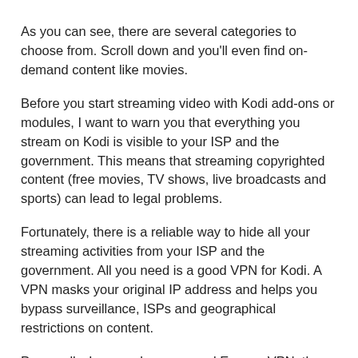As you can see, there are several categories to choose from. Scroll down and you'll even find on-demand content like movies.
Before you start streaming video with Kodi add-ons or modules, I want to warn you that everything you stream on Kodi is visible to your ISP and the government. This means that streaming copyrighted content (free movies, TV shows, live broadcasts and sports) can lead to legal problems.
Fortunately, there is a reliable way to hide all your streaming activities from your ISP and the government. All you need is a good VPN for Kodi. A VPN masks your original IP address and helps you bypass surveillance, ISPs and geographical restrictions on content.
Personally, I use and recommend ExpressVPN, the fastest and most secure VPN. It is compatible with all types of applications and streaming devices.